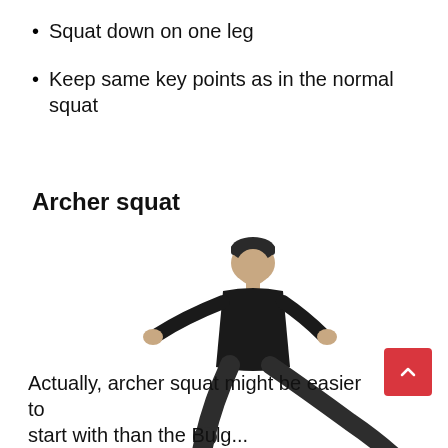Squat down on one leg
Keep same key points as in the normal squat
Archer squat
[Figure (photo): A person performing an archer squat — squatting down on one leg while the other leg is extended to the side, arms extended forward with fists clenched, wearing all black with a dark beanie hat.]
Actually, archer squat might be easier to start with than the Bulga...